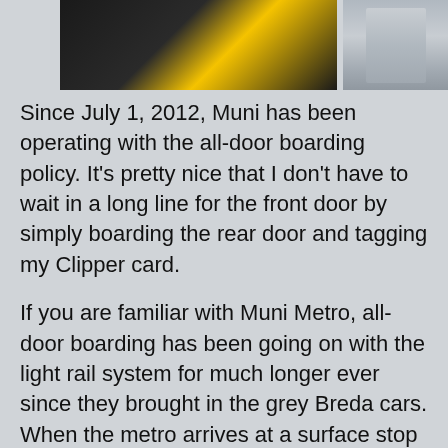[Figure (photo): Partial view of photos showing what appears to be a transit vehicle/bus detail with yellow element on left, and a grey cat or fabric on the right]
Since July 1, 2012, Muni has been operating with the all-door boarding policy.  It's pretty nice that I don't have to wait in a long line for the front door by simply boarding the rear door and tagging my Clipper card.
If you are familiar with Muni Metro, all-door boarding has been going on with the light rail system for much longer ever since they brought in the grey Breda cars.  When the metro arrives at a surface stop and doesn't open the doors, you reach for the button on the left or right side that is illuminated to open the doors.